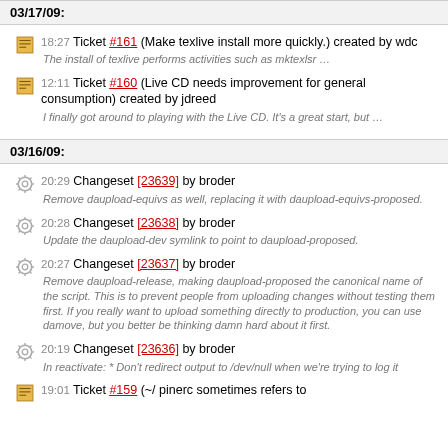03/17/09:
18:27 Ticket #161 (Make texlive install more quickly.) created by wdc — The install of texlive performs activities such as mktexlsr …
12:11 Ticket #160 (Live CD needs improvement for general consumption) created by jdreed — I finally got around to playing with the Live CD. It's a great start, but …
03/16/09:
20:29 Changeset [23639] by broder — Remove daupload-equivs as well, replacing it with daupload-equivs-proposed.
20:28 Changeset [23638] by broder — Update the daupload-dev symlink to point to daupload-proposed.
20:27 Changeset [23637] by broder — Remove daupload-release, making daupload-proposed the canonical name of the script. This is to prevent people from uploading changes without testing them first. If you really want to upload something directly to production, you can use damove, but you better be thinking damn hard about it first.
20:19 Changeset [23636] by broder — In reactivate: * Don't redirect output to /dev/null when we're trying to log it
19:01 Ticket #159 (~/ pinerc sometimes refers to